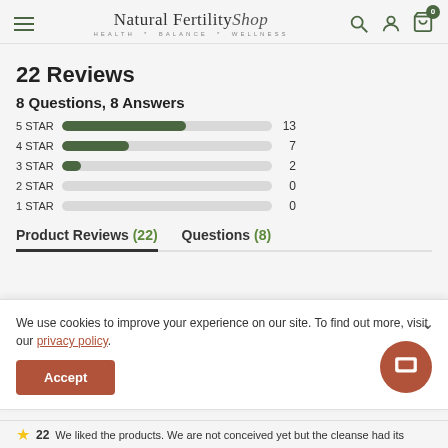Natural Fertility Shop — HEALTH * BALANCE * WELLNESS
22 Reviews
8 Questions, 8 Answers
[Figure (bar-chart): Star Rating Distribution]
Product Reviews (22)   Questions (8)
We use cookies to improve your experience on our site. To find out more, visit our privacy policy.
Accept
We liked the products. We are not conceived yet but the cleanse had its